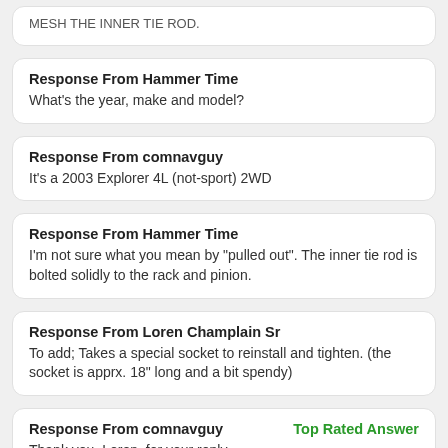Response From Hammer Time
What's the year, make and model?
Response From comnavguy
It's a 2003 Explorer 4L (not-sport) 2WD
Response From Hammer Time
I'm not sure what you mean by "pulled out". The inner tie rod is bolted solidly to the rack and pinion.
Response From Loren Champlain Sr
To add; Takes a special socket to reinstall and tighten. (the socket is apprx. 18" long and a bit spendy)
Response From comnavguy Top Rated Answer
Thank you, Loren, for your reply.